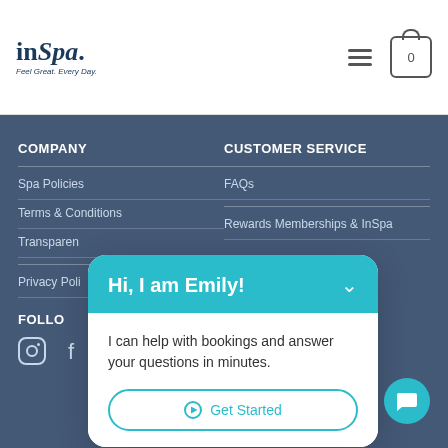inSpa. Feel Great. Every Day.
COMPANY
Spa Policies
Terms & Conditions
Transparency
Privacy Policy
FOLLOW
CUSTOMER SERVICE
FAQs
Rewards Memberships & InSpa
[Figure (screenshot): Chat widget popup with Emily chatbot saying 'Hi, I am Emily! I can help with bookings and answer your questions in minutes.' with a Get Started button.]